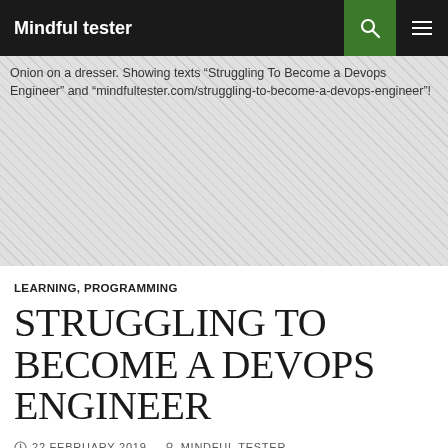Mindful tester
[Figure (photo): Onion on a dresser. Showing texts “Struggling To Become a Devops Engineer” and “mindfultester.com/struggling-to-become-a-devops-engineer”!]
LEARNING, PROGRAMMING
STRUGGLING TO BECOME A DEVOPS ENGINEER
© 22 FEBRUARY 2019  • MINDFUL TESTER